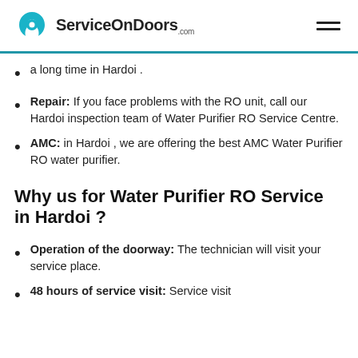ServiceOnDoors.com
a long time in Hardoi .
Repair: If you face problems with the RO unit, call our Hardoi inspection team of Water Purifier RO Service Centre.
AMC: in Hardoi , we are offering the best AMC Water Purifier RO water purifier.
Why us for Water Purifier RO Service in Hardoi ?
Operation of the doorway: The technician will visit your service place.
48 hours of service visit: Service visit